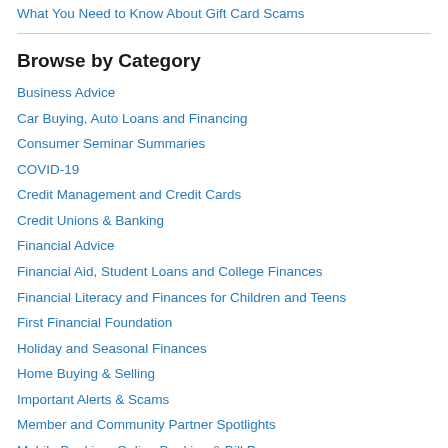What You Need to Know About Gift Card Scams
Browse by Category
Business Advice
Car Buying, Auto Loans and Financing
Consumer Seminar Summaries
COVID-19
Credit Management and Credit Cards
Credit Unions & Banking
Financial Advice
Financial Aid, Student Loans and College Finances
Financial Literacy and Finances for Children and Teens
First Financial Foundation
Holiday and Seasonal Finances
Home Buying & Selling
Important Alerts & Scams
Member and Community Partner Spotlights
Mobile Banking, Online Banking & Bill Pay